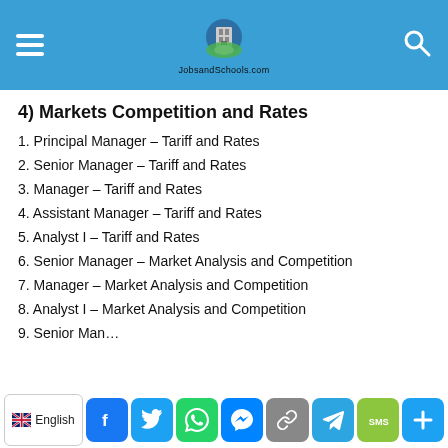JobsandSchools.com
4) Markets Competition and Rates
1. Principal Manager – Tariff and Rates
2. Senior Manager – Tariff and Rates
3. Manager – Tariff and Rates
4. Assistant Manager – Tariff and Rates
5. Analyst I – Tariff and Rates
6. Senior Manager – Market Analysis and Competition
7. Manager – Market Analysis and Competition
8. Analyst I – Market Analysis and Competition
9. Senior Man…